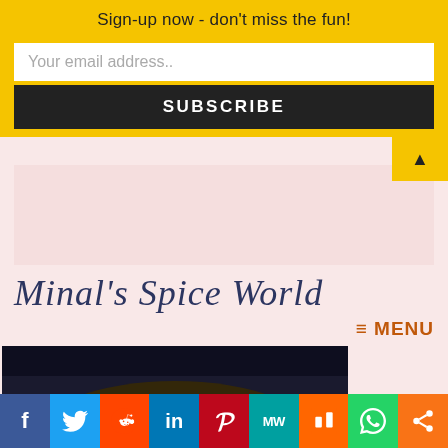Sign-up now - don't miss the fun!
Your email address..
SUBSCRIBE
Minal's Spice World
≡ MENU
[Figure (photo): Close-up photo of a yellow/golden Indian sweet dish (halwa) garnished with almond slices, on a dark background]
[Figure (infographic): Social media sharing bar with icons for Facebook, Twitter, Reddit, LinkedIn, Pinterest, MixedW, Mix, WhatsApp, and Share]